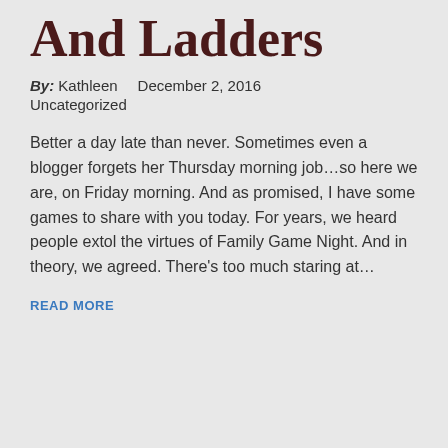And Ladders
By: Kathleen    December 2, 2016
Uncategorized
Better a day late than never. Sometimes even a blogger forgets her Thursday morning job…so here we are, on Friday morning. And as promised, I have some games to share with you today. For years, we heard people extol the virtues of Family Game Night. And in theory, we agreed. There's too much staring at…
READ MORE